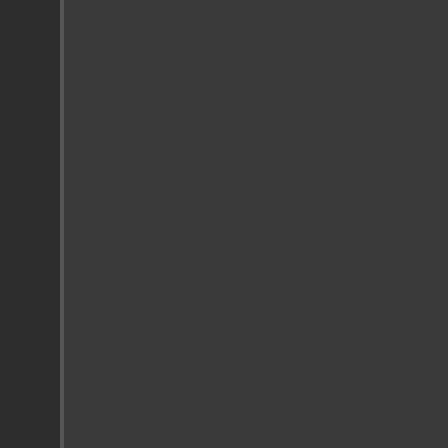increased risk for a wide variety of behaviors, such as poor living and because of toxic effects from the dr
Take action now if you or someone for another day or no changes will in order to stop their drug abuse p and stay clean. That is why the resources available to individuals These resources include numerous
Help For Drug Addiction, Park Fa
Getting help for drug addiction m yourself or for someone you care individual's life. Their drug addictio wide range of dysfunctional behav the workplace, and the broader co place people at increased risk for brought on by behaviors, such as drug addict, or because of toxic effe
Take action now if you or someone it for another day or no changes changes to stop their drug addictio own and stay clean. That is why th resources available to persons see These resources include numerous
Prescription Drug Abuse Help, P
Help for prescription drug abuse becoming dependent on the variou shown that abuse of any drug, illic is no one form of prescription drug help for prescription drug abuse, c needs of the individual.